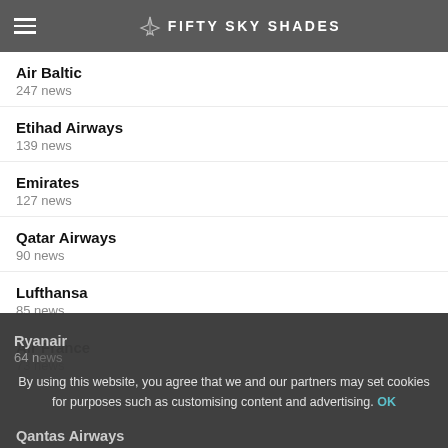FIFTY SKY SHADES
Air Baltic
247 news
Etihad Airways
139 news
Emirates
127 news
Qatar Airways
90 news
Lufthansa
85 news
Air France
73 news
Ryanair
64 news
Qantas Airways
By using this website, you agree that we and our partners may set cookies for purposes such as customising content and advertising. OK